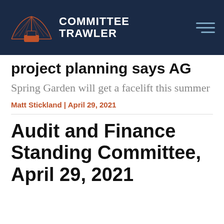COMMITTEE TRAWLER
project planning says AG
Spring Garden will get a facelift this summer
Matt Stickland | April 29, 2021
Audit and Finance Standing Committee, April 29, 2021